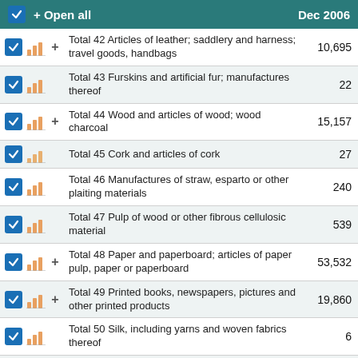+ Open all   Dec 2006
Total 42 Articles of leather; saddlery and harness; travel goods, handbags
Total 43 Furskins and artificial fur; manufactures thereof
Total 44 Wood and articles of wood; wood charcoal
Total 45 Cork and articles of cork
Total 46 Manufactures of straw, esparto or other plaiting materials
Total 47 Pulp of wood or other fibrous cellulosic material
Total 48 Paper and paperboard; articles of paper pulp, paper or paperboard
Total 49 Printed books, newspapers, pictures and other printed products
Total 50 Silk, including yarns and woven fabrics thereof
Total 51 Wool and fine or coarse animal hair